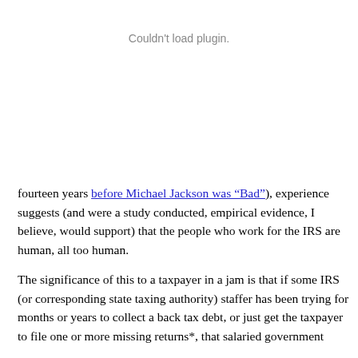Couldn't load plugin.
fourteen years before Michael Jackson was “Bad”), experience suggests (and were a study conducted, empirical evidence, I believe, would support) that the people who work for the IRS are human, all too human.
The significance of this to a taxpayer in a jam is that if some IRS (or corresponding state taxing authority) staffer has been trying for months or years to collect a back tax debt, or just get the taxpayer to file one or more missing returns*, that salaried government